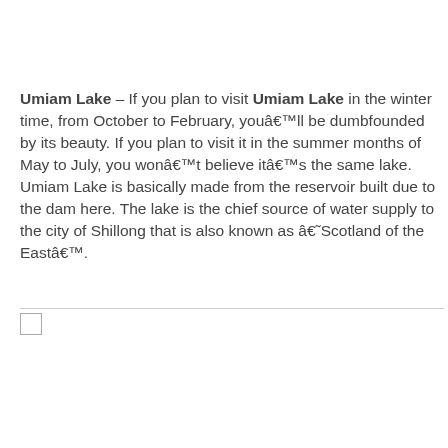Umiam Lake – If you plan to visit Umiam Lake in the winter time, from October to February, you'll be dumbfounded by its beauty. If you plan to visit it in the summer months of May to July, you won't believe it's the same lake. Umiam Lake is basically made from the reservoir built due to the dam here. The lake is the chief source of water supply to the city of Shillong that is also known as â€˜Scotland of the Eastâ€™.